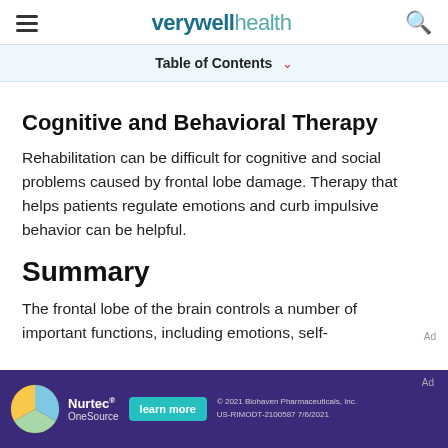verywell health
Table of Contents
Cognitive and Behavioral Therapy
Rehabilitation can be difficult for cognitive and social problems caused by frontal lobe damage. Therapy that helps patients regulate emotions and curb impulsive behavior can be helpful.
Summary
The frontal lobe of the brain controls a number of important functions, including emotions, self-
[Figure (other): Advertisement banner for Nurtec OneSource with learn more button, copyright 2021 Biohaven Pharmaceuticals, Inc. US-RIMODT-2100587 7/6/2021]